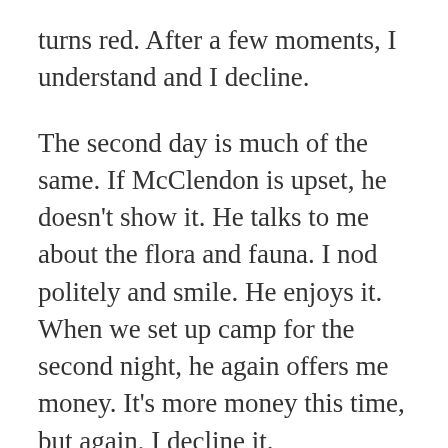turns red.  After a few moments, I understand and I decline.
The second day is much of the same.  If McClendon is upset, he doesn't show it.  He talks to me about the flora and fauna.  I nod politely and smile.  He enjoys it.  When we set up camp for the second night, he again offers me money.  It's more money this time, but again, I decline it.
The third day is much of the same.  After setting up camp but before McClendon can say anything, I push him to the ground and start